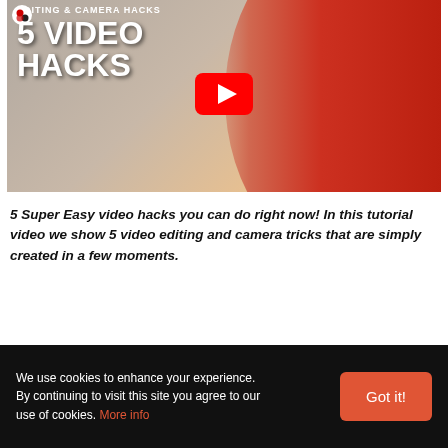[Figure (screenshot): YouTube video thumbnail showing a man in a red shirt drinking from a mug, with text '5 VIDEO HACKS' overlaid and a YouTube play button in the center. Header text reads 'EDITING & CAMERA HACKS'.]
5 Super Easy video hacks you can do right now! In this tutorial video we show 5 video editing and camera tricks that are simply created in a few moments.
We use cookies to enhance your experience. By continuing to visit this site you agree to our use of cookies. More info